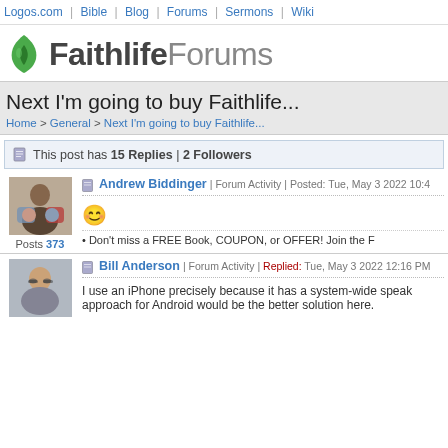Logos.com | Bible | Blog | Forums | Sermons | Wiki
[Figure (logo): Faithlife Forums logo with green flame leaf icon, bold Faithlife in dark gray and Forums in light gray]
Next I'm going to buy Faithlife...
Home > General > Next I'm going to buy Faithlife...
This post has 15 Replies | 2 Followers
Andrew Biddinger | Forum Activity | Posted: Tue, May 3 2022 10:4
[Figure (photo): Profile photo of Andrew Biddinger showing a man with children]
Posts 373
😊
Don't miss a FREE Book, COUPON, or OFFER! Join the F
Bill Anderson | Forum Activity | Replied: Tue, May 3 2022 12:16 PM
[Figure (photo): Profile photo of Bill Anderson showing a man with glasses]
I use an iPhone precisely because it has a system-wide speak approach for Android would be the better solution here.